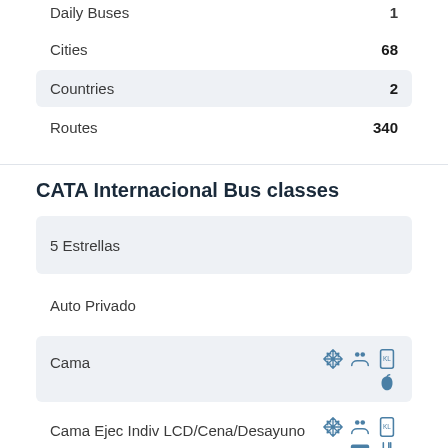| Category | Value |
| --- | --- |
| Daily Buses | 1 |
| Cities | 68 |
| Countries | 2 |
| Routes | 340 |
CATA Internacional Bus classes
5 Estrellas
Auto Privado
Cama (icons: snowflake, people, phone, apple)
Cama Ejec Indiv LCD/Cena/Desayuno (icons: snowflake, people, phone, tv, utensils)
Cama Ejec. LCD/Cena/Desayuno (icons: snowflake, people, phone, tv, utensils)